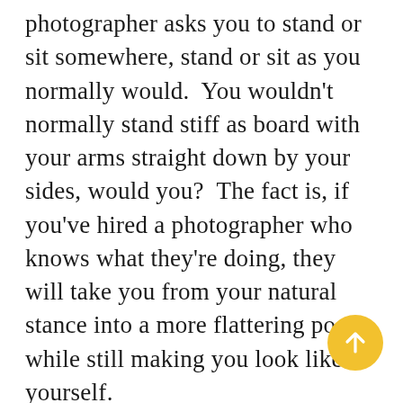photographer asks you to stand or sit somewhere, stand or sit as you normally would.  You wouldn't normally stand stiff as board with your arms straight down by your sides, would you?  The fact is, if you've hired a photographer who knows what they're doing, they will take you from your natural stance into a more flattering pose while still making you look like yourself.
 Sometimes my clients even fall into the most perfect poses just by standing or sitting exactly how they would in their real lives and all I have to do is make a few minor tweaks.  It is important to note, however, that many times the things your photographer is telling you to do in order to create a flattering pose may